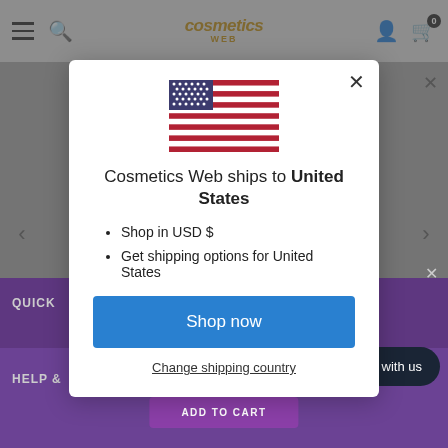[Figure (screenshot): Website background showing cosmetics web store with greyed-out overlay and open modal dialog]
[Figure (illustration): US flag icon displayed inside the modal]
Cosmetics Web ships to United States
Shop in USD $
Get shipping options for United States
Shop now
Change shipping country